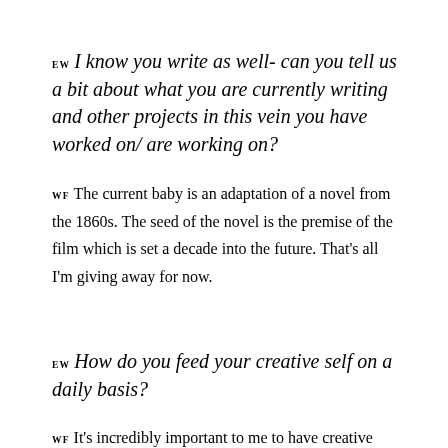EW I know you write as well- can you tell us a bit about what you are currently writing and other projects in this vein you have worked on/ are working on?
WF The current baby is an adaptation of a novel from the 1860s. The seed of the novel is the premise of the film which is set a decade into the future. That's all I'm giving away for now.
EW How do you feed your creative self on a daily basis?
WF It's incredibly important to me to have creative outlets that aren't related to my job or my industry. I love starting my days writing, reading a book and